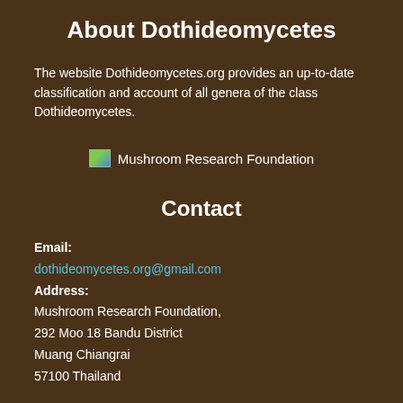About Dothideomycetes
The website Dothideomycetes.org provides an up-to-date classification and account of all genera of the class Dothideomycetes.
[Figure (logo): Mushroom Research Foundation logo with small image icon and text]
Contact
Email:
dothideomycetes.org@gmail.com
Address:
Mushroom Research Foundation,
292 Moo 18 Bandu District
Muang Chiangrai
57100 Thailand